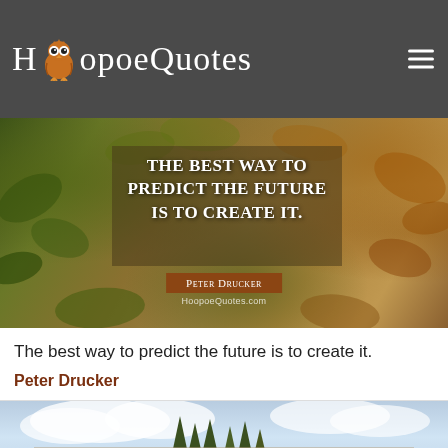HoopoeQuotes
[Figure (photo): Autumn leaves background with quote overlay: 'The best way to predict the future is to create it.' — Peter Drucker, HoopoeQuotes.com]
The best way to predict the future is to create it.
Peter Drucker
[Figure (photo): Sky and trees background with quote overlay beginning: 'If you are depressed you are...']